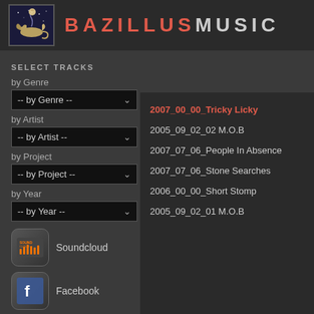BAZILLUS MUSIC
SELECT TRACKS
by Genre
-- by Genre --
by Artist
-- by Artist --
by Project
-- by Project --
by Year
-- by Year --
Soundcloud
Facebook
2007_00_00_Tricky Licky
2005_09_02_02 M.O.B
2007_07_06_People In Absence
2007_07_06_Stone Searches
2006_00_00_Short Stomp
2005_09_02_01 M.O.B